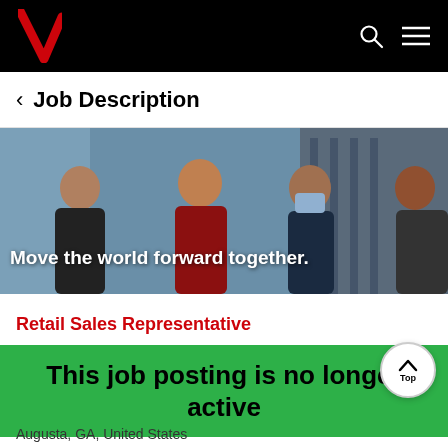Verizon — navigation bar with logo, search, and menu icons
Job Description
[Figure (photo): Banner photo of Verizon employees with text overlay: Move the world forward together.]
Retail Sales Representative
This job posting is no longer active
Augusta, GA, United States